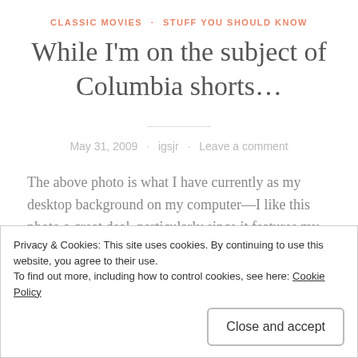CLASSIC MOVIES · STUFF YOU SHOULD KNOW
While I'm on the subject of Columbia shorts…
May 31, 2009 · igsjr · Leave a comment
The above photo is what I have currently as my desktop background on my computer—I like this photo a great deal, particularly since it features my favorite Stooge, Shemp Howard. My father stops by Rancho Yesteryear Friday and hands me a missive he's dashed off that he
Privacy & Cookies: This site uses cookies. By continuing to use this website, you agree to their use.
To find out more, including how to control cookies, see here: Cookie Policy
Close and accept